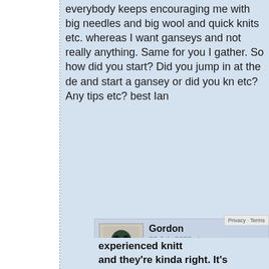everybody keeps encouraging me with big needles and big wool and quick knits etc. whereas I want ganseys and not really anything. Same for you I gather. So how did you start? Did you jump in at the deep end and start a gansey or did you knit etc? Any tips etc? best Ian
[Figure (photo): Avatar image of a small carved figurine (Maori-style tiki) in dark greenstone/jade]
Gordon
23 July 2020 at 18:3...
Hello Ian! Great t... from you.
My first knitting project was...
Privacy & Cookies: This site uses cookies. By continuing to use this website, you agree to their use.
To find out more, including how to control cookies, see here: About Cookies
Close and accept
experienced knitt... and they're kinda right. It's...
Privacy - Terms